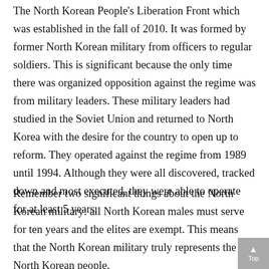The North Korean People's Liberation Front which was established in the fall of 2010. It was formed by former North Korean military from officers to regular soldiers. This is significant because the only time there was organized opposition against the regime was from military leaders. These military leaders had studied in the Soviet Union and returned to North Korea with the desire for the country to open up to reform. They operated against the regime from 1989 until 1994. Although they were all discovered, tracked down and most executed, they were able to operate for at least 5 years.
Remember two significant things about the North Korean military: all North Korean males must serve for ten years and the elites are exempt. This means that the North Korean military truly represents the North Korean people.